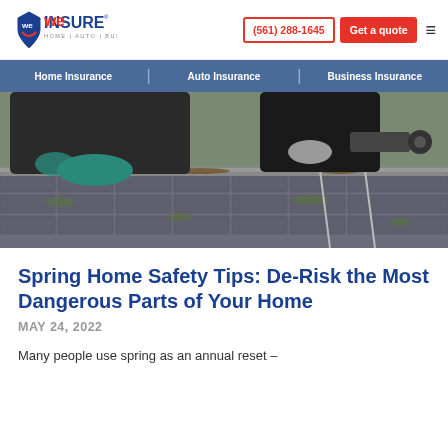we INSURE | HOME | AUTO | BUSINESS | (561) 288-1645 | Get a quote
Home Insurance | Auto Insurance | Business Insurance
[Figure (photo): Two workers in gloves cleaning gutters on a roof using a ladder and an electric drill/screwdriver tool; close-up of dirty gutters with debris on shingle roof.]
Spring Home Safety Tips: De-Risk the Most Dangerous Parts of Your Home
MAY 24, 2022
Many people use spring as an annual reset –